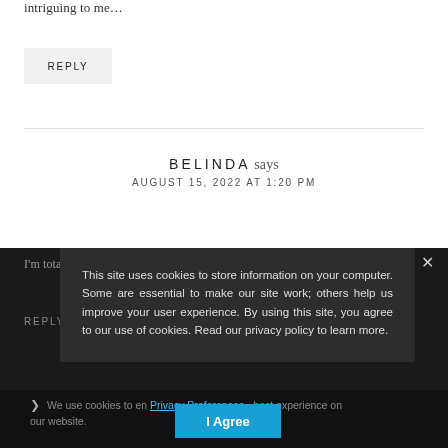intriguing to me…
REPLY
BELINDA says
AUGUST 15, 2022 AT 1:20 PM
I'm totally… (obscured by cookie banner)
REPLY (obscured)
This site uses cookies to store information on your computer. Some are essential to make our site work; others help us improve your user experience. By using this site, you agree to our use of cookies. Read our privacy policy to learn more.
We use cookies to en… Privacy Preferences …best experience on our website.
I Agree